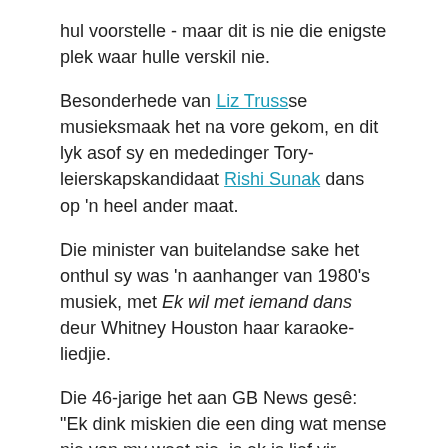hul voorstelle - maar dit is nie die enigste plek waar hulle verskil nie.
Besonderhede van Liz Truss se musieksmaak het na vore gekom, en dit lyk asof sy en mededinger Tory-leierskapskandidaat Rishi Sunak dans op 'n heel ander maat.
Die minister van buitelandse sake het onthul sy was 'n aanhanger van 1980's musiek, met Ek wil met iemand dans deur Whitney Houston haar karaoke-liedjie.
Die 46-jarige het aan GB News gesê: “Ek dink miskien die een ding wat mense nie van my weet nie, is ek is lief vir 1980's musiek en ek is lief vir karaoke.
“Ek hou daarvan om musiek ook te geniet. My gunsteling liedjie is 'I Wanna Dance (Met Iemand)' deur Whitney Houston.”